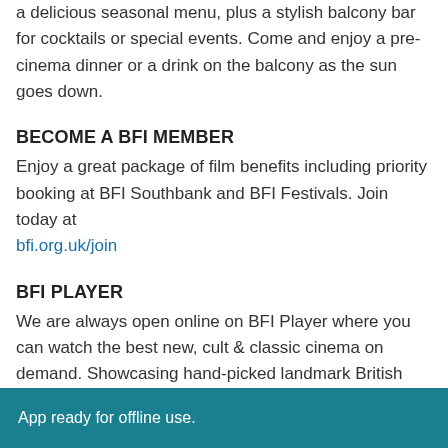a delicious seasonal menu, plus a stylish balcony bar for cocktails or special events. Come and enjoy a pre-cinema dinner or a drink on the balcony as the sun goes down.
BECOME A BFI MEMBER
Enjoy a great package of film benefits including priority booking at BFI Southbank and BFI Festivals. Join today at bfi.org.uk/join
BFI PLAYER
We are always open online on BFI Player where you can watch the best new, cult & classic cinema on demand. Showcasing hand-picked landmark British and independent titles, films are available to watch in three distinct ways: Subscription, Rentals & Free to view.
App ready for offline use.